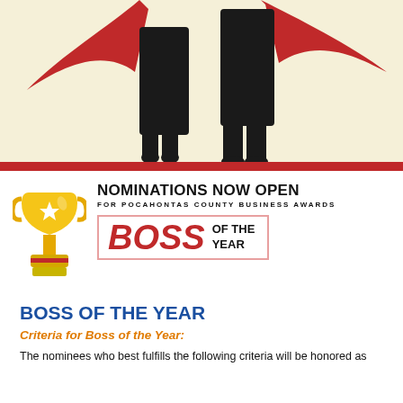[Figure (illustration): Illustration of two figures (a man and a woman) wearing black clothing with red superhero capes against a cream/yellow background, cropped at the waist-up. A thick red horizontal bar runs along the bottom of the illustration.]
[Figure (infographic): Gold trophy icon with a white star on the cup body, on a gray base with a red band.]
NOMINATIONS NOW OPEN
FOR POCAHONTAS COUNTY BUSINESS AWARDS
[Figure (infographic): A bordered box with pink/red border containing the text 'BOSS OF THE YEAR' where BOSS is large red italic bold text and 'OF THE YEAR' is smaller black bold uppercase text to the right.]
BOSS OF THE YEAR
Criteria for Boss of the Year:
The nominees who best fulfills the following criteria will be honored as